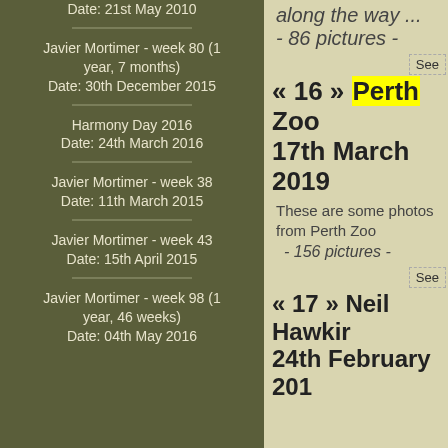Date: 21st May 2010
Javier Mortimer - week 80 (1 year, 7 months)
Date: 30th December 2015
Harmony Day 2016
Date: 24th March 2016
Javier Mortimer - week 38
Date: 11th March 2015
Javier Mortimer - week 43
Date: 15th April 2015
Javier Mortimer - week 98 (1 year, 46 weeks)
Date: 04th May 2016
along the way ...
- 86 pictures -
See
« 16 » Perth Zoo 17th March 2019
These are some photos from Perth Zoo
- 156 pictures -
See
« 17 » Neil Hawkins 24th February 201...